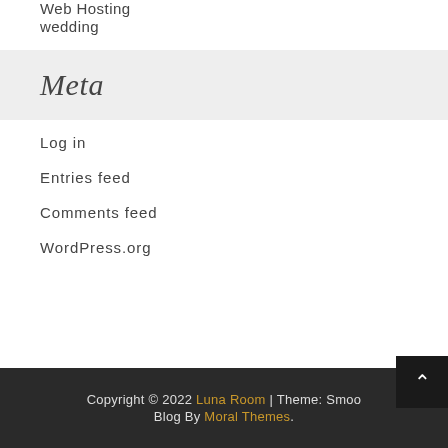Web Hosting
wedding
Meta
Log in
Entries feed
Comments feed
WordPress.org
Copyright © 2022 Luna Room | Theme: Smoo Blog By Moral Themes.